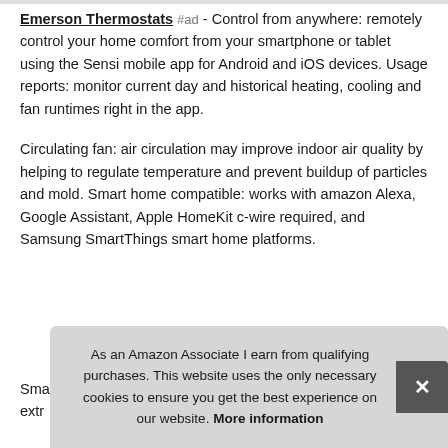Emerson Thermostats #ad - Control from anywhere: remotely control your home comfort from your smartphone or tablet using the Sensi mobile app for Android and iOS devices. Usage reports: monitor current day and historical heating, cooling and fan runtimes right in the app.
Circulating fan: air circulation may improve indoor air quality by helping to regulate temperature and prevent buildup of particles and mold. Smart home compatible: works with amazon Alexa, Google Assistant, Apple HomeKit c-wire required, and Samsung SmartThings smart home platforms.
Sma... extr...
As an Amazon Associate I earn from qualifying purchases. This website uses the only necessary cookies to ensure you get the best experience on our website. More information